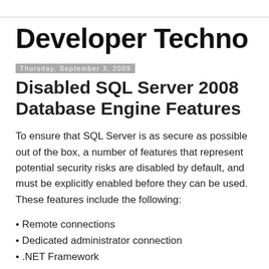Developer Techno
Disabled SQL Server 2008 Database Engine Features
To ensure that SQL Server is as secure as possible out of the box, a number of features that represent potential security risks are disabled by default, and must be explicitly enabled before they can be used. These features include the following:
Remote connections
Dedicated administrator connection
.NET Framework
Database Mail
SQLMail
Service Broker